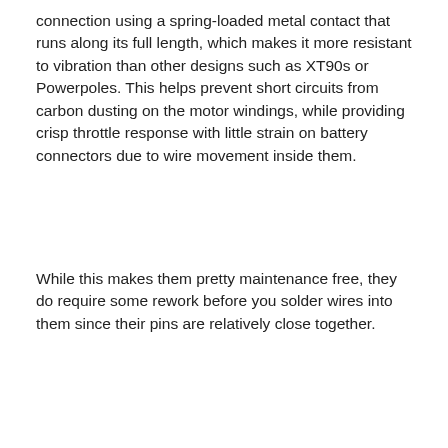connection using a spring-loaded metal contact that runs along its full length, which makes it more resistant to vibration than other designs such as XT90s or Powerpoles. This helps prevent short circuits from carbon dusting on the motor windings, while providing crisp throttle response with little strain on battery connectors due to wire movement inside them.
While this makes them pretty maintenance free, they do require some rework before you solder wires into them since their pins are relatively close together.